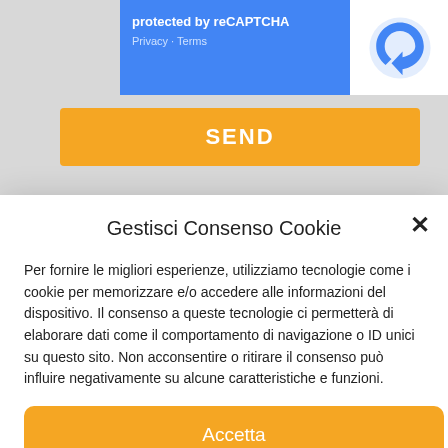[Figure (screenshot): reCAPTCHA blue badge showing 'protected by reCAPTCHA' with Privacy and Terms links, and reCAPTCHA logo on white background]
SEND
Gestisci Consenso Cookie
Per fornire le migliori esperienze, utilizziamo tecnologie come i cookie per memorizzare e/o accedere alle informazioni del dispositivo. Il consenso a queste tecnologie ci permetterà di elaborare dati come il comportamento di navigazione o ID unici su questo sito. Non acconsentire o ritirare il consenso può influire negativamente su alcune caratteristiche e funzioni.
Accetta
Nega
Visualizza le preferenze